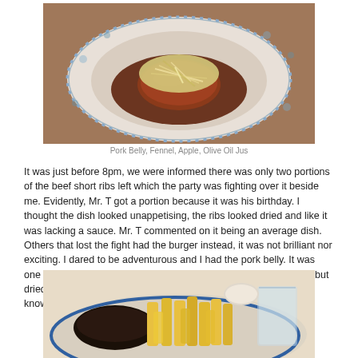[Figure (photo): A pork belly dish on a blue and white floral plate, topped with shredded fennel or cabbage slaw, with a dark sauce or jus on the plate.]
Pork Belly, Fennel, Apple, Olive Oil Jus
It was just before 8pm, we were informed there was only two portions of the beef short ribs left which the party was fighting over it beside me. Evidently, Mr. T got a portion because it was his birthday. I thought the dish looked unappetising, the ribs looked dried and like it was lacking a sauce. Mr. T commented on it being an average dish. Others that lost the fight had the burger instead, it was not brilliant nor exciting. I dared to be adventurous and I had the pork belly. It was one of the most forgettable dish of the night, the meat was tender but dried and bland, the taste of olive oil did not come through (I don't know if it was supposed to be?).
[Figure (photo): A dark burger patty served with thick-cut chips/fries on a blue and white plate, with a glass of water visible to the right.]